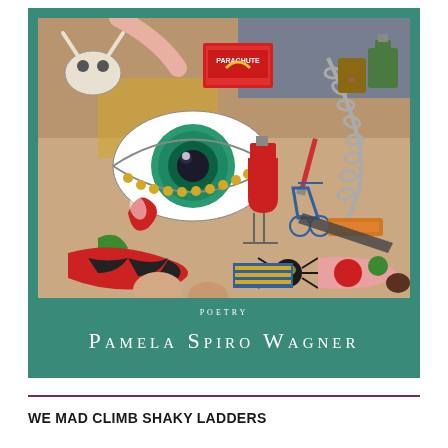[Figure (illustration): Book cover for a poetry collection. Teal/green background with a surrealist painting showing a large eye, various objects including parachute box, chains, laboratory equipment, animal skulls, colorful shapes. Below the painting: the word POETRY in small caps, and the author name PAMELA SPIRO WAGNER in large spaced letters.]
WE MAD CLIMB SHAKY LADDERS